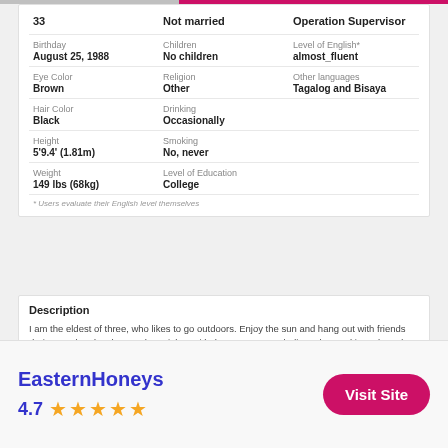| 33 | Not married | Operation Supervisor |
| Birthday | Children | Level of English* |
| August 25, 1988 | No children | almost_fluent |
| Eye Color | Religion | Other languages |
| Brown | Other | Tagalog and Bisaya |
| Hair Color | Drinking |  |
| Black | Occasionally |  |
| Height | Smoking |  |
| 5'9.4' (1.81m) | No, never |  |
| Weight | Level of Education |  |
| 149 lbs (68kg) | College |  |
* Users evaluate their English level themselves
Description
I am the eldest of three, who likes to go outdoors. Enjoy the sun and hang out with friends during weekends. I love to throw jokes with them. I am very dedicated to working. I love dogs as I have one. I am tattoo enthusiastic. I like to meet new people and know their culture and history.
EasternHoneys
4.7
Visit Site